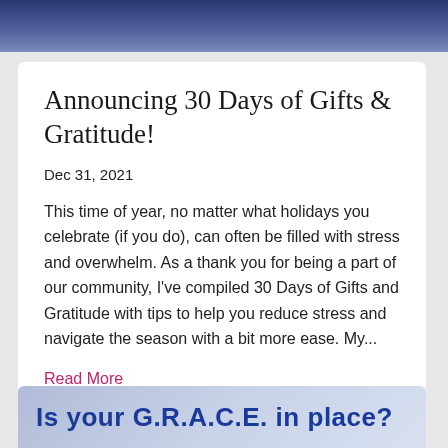[Figure (photo): Dark blue/purple winter scene photograph, partially cropped at top of page]
Announcing 30 Days of Gifts & Gratitude!
Dec 31, 2021
This time of year, no matter what holidays you celebrate (if you do), can often be filled with stress and overwhelm. As a thank you for being a part of our community, I've compiled 30 Days of Gifts and Gratitude with tips to help you reduce stress and navigate the season with a bit more ease. My...
Read More
[Figure (photo): Light blue/grey background card with bold blue text reading 'Is your G.R.A.C.E. in place?']